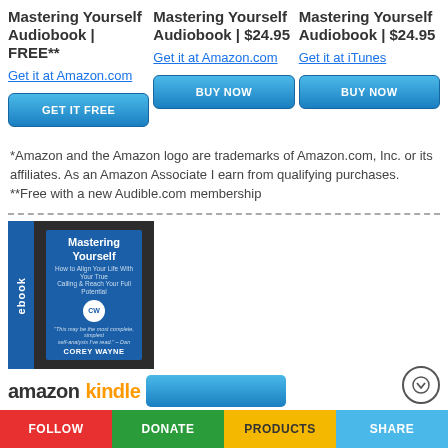Mastering Yourself Audiobook | FREE**
Get it at Amazon.com
GET IT FREE
Mastering Yourself Audiobook | $24.95
Get it at Amazon.com
BUY NOW
Mastering Yourself Audiobook | $24.95
Get it at iTunes
BUY NOW
*Amazon and the Amazon logo are trademarks of Amazon.com, Inc. or its affiliates. As an Amazon Associate I earn from qualifying purchases.
**Free with a new Audible.com membership
[Figure (photo): Mastering Yourself ebook cover with blue spine labeled 'ebook', showing a tablet with the book cover by Corey Wayne]
amazonkindle
FOLLOW | DONATE | PRODUCTS | SHARE